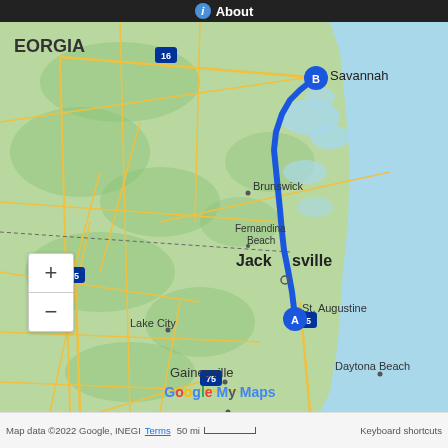About
[Figure (map): Google My Maps showing a driving route from St. Augustine, Florida (marker A) to Savannah, Georgia (marker B) along the coastal US route, passing through Jacksonville, Fernandina Beach, and Brunswick. The route is shown as a thick blue line. Cities labeled include Savannah, Brunswick, Fernandina Beach, Jacksonville, St. Augustine, Daytona Beach, Gainesville, Lake City, Valdosta, Ocala. Interstate shields visible: I-16, I-75, I-95. The eastern portion shows the Atlantic Ocean.]
Map data ©2022 Google, INEGI  Terms  50 mi  Keyboard shortcuts